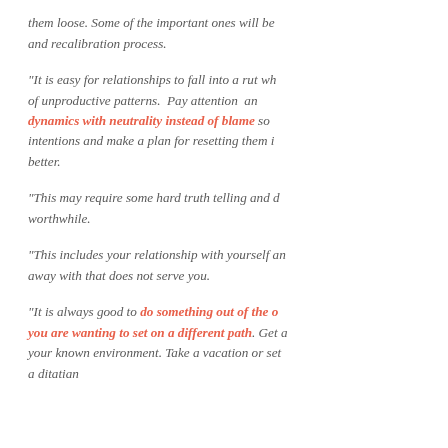them loose. Some of the important ones will be and recalibration process.
“It is easy for relationships to fall into a rut wh of unproductive patterns. Pay attention and view dynamics with neutrality instead of blame so intentions and make a plan for resetting them in better.
“This may require some hard truth telling and d worthwhile.
“This includes your relationship with yourself an away with that does not serve you.
“It is always good to do something out of the o you are wanting to set on a different path. Get a your known environment. Take a vacation or set a meditation.